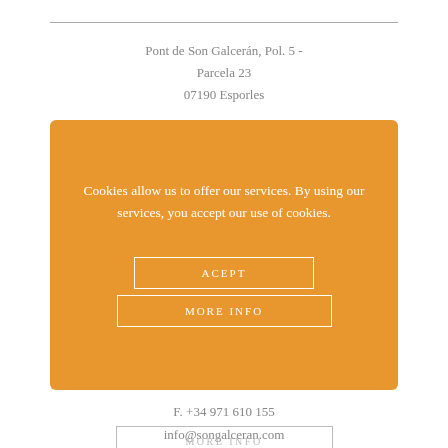Pont de Son Galcerán, Pol. 5 - Parcela 23
07190 Esporles
[Figure (infographic): Orange rounded rectangle cookie consent banner with text 'Cookies allow us to offer our services. By using our services, you accept our use of cookies.' and two buttons: ACEPT and MORE INFO]
F. +34 971 610 155
info@songalceran.com
MORE INFO